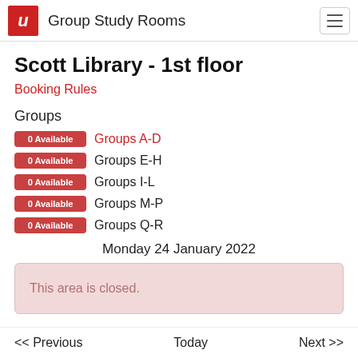Group Study Rooms
Scott Library - 1st floor
Booking Rules
Groups
0 Available  Groups A-D
0 Available  Groups E-H
0 Available  Groups I-L
0 Available  Groups M-P
0 Available  Groups Q-R
Monday 24 January 2022
This area is closed.
<< Previous    Today    Next >>